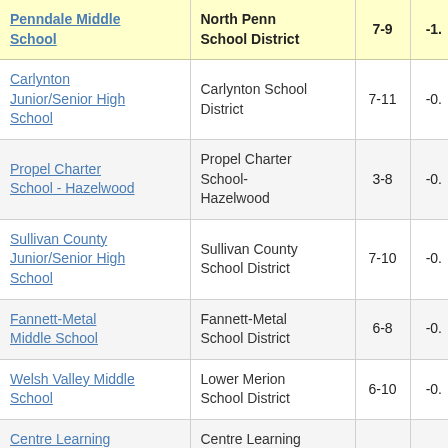| School | District | Grades | Value |
| --- | --- | --- | --- |
| Penndale Middle School | North Penn School District | 7-9 | -1. |
| Carlynton Junior/Senior High School | Carlynton School District | 7-11 | -0. |
| Propel Charter School - Hazelwood | Propel Charter School-Hazelwood | 3-8 | -0. |
| Sullivan County Junior/Senior High School | Sullivan County School District | 7-10 | -0. |
| Fannett-Metal Middle School | Fannett-Metal School District | 6-8 | -0. |
| Welsh Valley Middle School | Lower Merion School District | 6-10 | -0. |
| Centre Learning Community Charter School | Centre Learning Community Charter School | 5-8 | -1. |